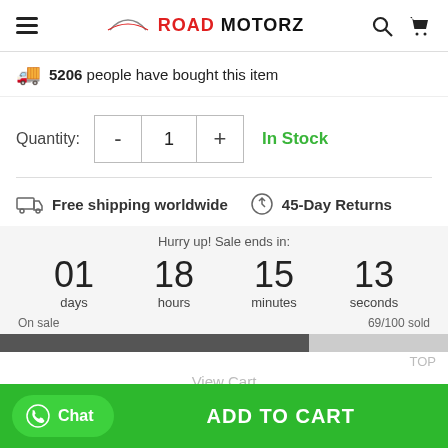ROAD MOTORZ
5206 people have bought this item
Quantity: - 1 + In Stock
Free shipping worldwide  45-Day Returns
Hurry up! Sale ends in: 01 days  18 hours  15 minutes  13 seconds  On sale  69/100 sold
View Cart
Chat  ADD TO CART